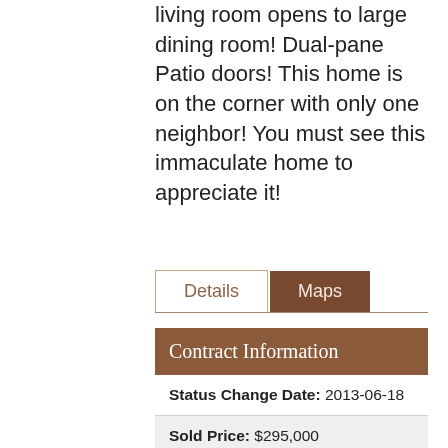living room opens to large dining room! Dual-pane Patio doors! This home is on the corner with only one neighbor! You must see this immaculate home to appreciate it!
| Contract Information |
| --- |
| Status Change Date: 2013-06-18 |
| Sold Price: $295,000 |
| Status: Closed |
| Current Price: $295,000 |
| List Date: 2013-01-31 |
| Type: ER |